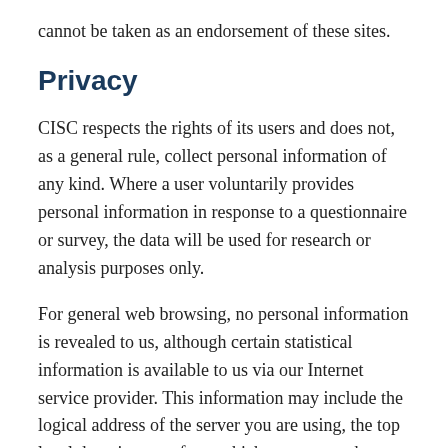cannot be taken as an endorsement of these sites.
Privacy
CISC respects the rights of its users and does not, as a general rule, collect personal information of any kind. Where a user voluntarily provides personal information in response to a questionnaire or survey, the data will be used for research or analysis purposes only.
For general web browsing, no personal information is revealed to us, although certain statistical information is available to us via our Internet service provider. This information may include the logical address of the server you are using, the top level domain name from which you access the Internet (for